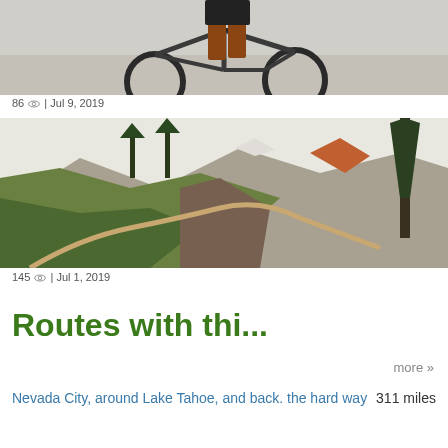[Figure (photo): Person standing with a mountain bike, rocky/snowy terrain visible behind]
86 👁 | Jul 9, 2019
[Figure (photo): Mountain trail winding along a rocky hillside with pine trees and mountain peaks visible in the background]
145 👁 | Jul 1, 2019
Routes with thi...
more »
Nevada City, around Lake Tahoe, and back. the hard way    311 miles